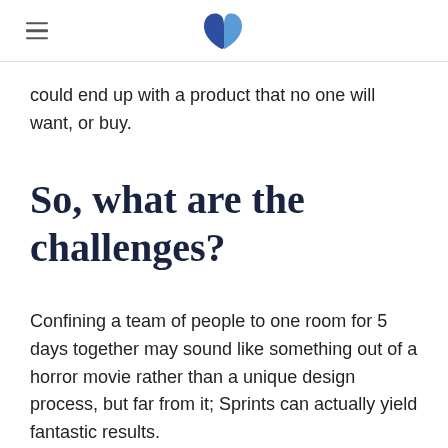could end up with a product that no one will want, or buy.
So, what are the challenges?
Confining a team of people to one room for 5 days together may sound like something out of a horror movie rather than a unique design process, but far from it; Sprints can actually yield fantastic results.